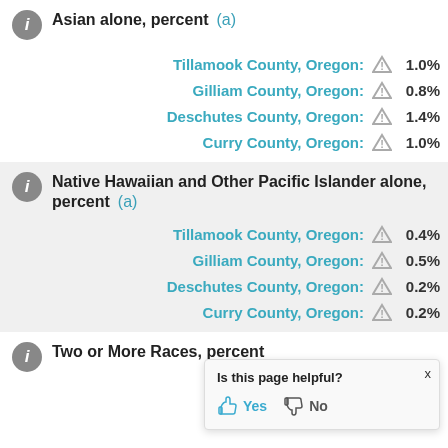Asian alone, percent (a)
Tillamook County, Oregon: ⚠ 1.0%
Gilliam County, Oregon: ⚠ 0.8%
Deschutes County, Oregon: ⚠ 1.4%
Curry County, Oregon: ⚠ 1.0%
Native Hawaiian and Other Pacific Islander alone, percent (a)
Tillamook County, Oregon: ⚠ 0.4%
Gilliam County, Oregon: ⚠ 0.5%
Deschutes County, Oregon: ⚠ 0.2%
Curry County, Oregon: ⚠ 0.2%
Two or More Races, percent
Tillamook Count…
Gilliam Count…